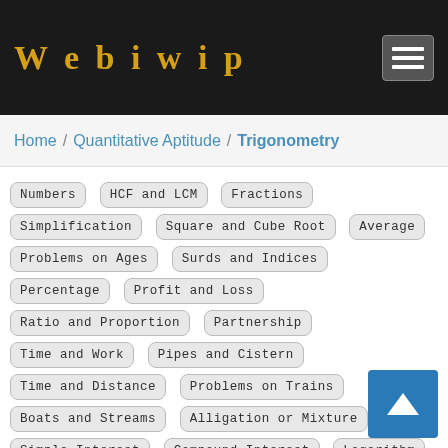Webiwip
Home / Quantitative Aptitude / Trigonometry
Numbers
HCF and LCM
Fractions
Simplification
Square and Cube Root
Average
Problems on Ages
Surds and Indices
Percentage
Profit and Loss
Ratio and Proportion
Partnership
Time and Work
Pipes and Cistern
Time and Distance
Problems on Trains
Boats and Streams
Alligation or Mixture
Simple Interest
Compound Interest
Logarithm
Area
Volume and Surface Area
Races And Games
Calendar
Clocks
Permutation and Combination
Probability
D...
Height and Distance
Algebra
Triangles
Trigonome...
Quadrilateral